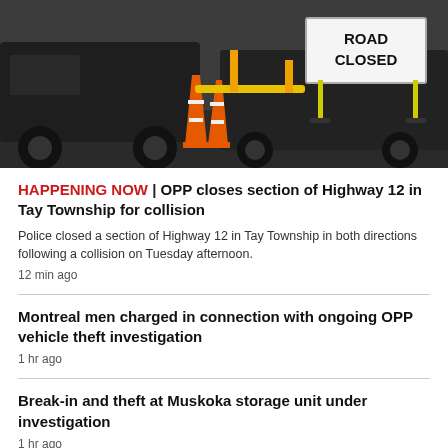[Figure (photo): Road closure scene with orange traffic cones, yellow barriers, a police vehicle, and a ROAD CLOSED sign on a dark pavement.]
HAPPENING NOW | OPP closes section of Highway 12 in Tay Township for collision
Police closed a section of Highway 12 in Tay Township in both directions following a collision on Tuesday afternoon.
12 min ago
Montreal men charged in connection with ongoing OPP vehicle theft investigation
1 hr ago
Break-in and theft at Muskoka storage unit under investigation
1 hr ago